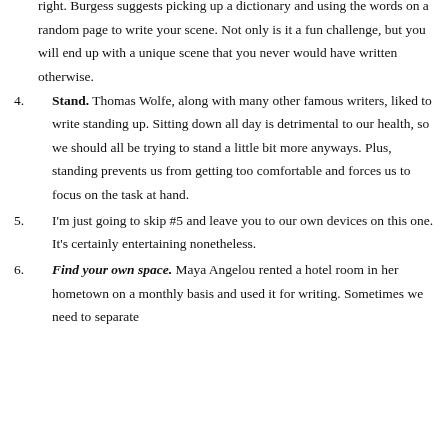right. Burgess suggests picking up a dictionary and using the words on a random page to write your scene. Not only is it a fun challenge, but you will end up with a unique scene that you never would have written otherwise.
Stand. Thomas Wolfe, along with many other famous writers, liked to write standing up. Sitting down all day is detrimental to our health, so we should all be trying to stand a little bit more anyways. Plus, standing prevents us from getting too comfortable and forces us to focus on the task at hand.
I'm just going to skip #5 and leave you to our own devices on this one. It's certainly entertaining nonetheless.
Find your own space. Maya Angelou rented a hotel room in her hometown on a monthly basis and used it for writing. Sometimes we need to separate